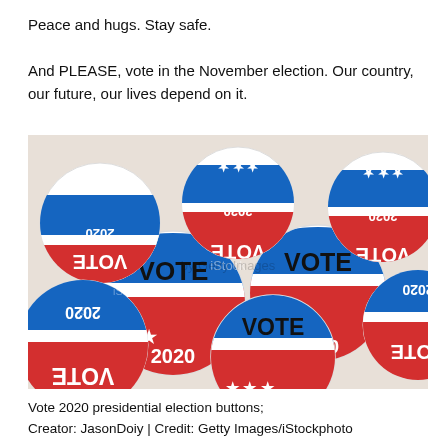Peace and hugs. Stay safe.
And PLEASE, vote in the November election. Our country, our future, our lives depend on it.
[Figure (photo): A pile of circular Vote 2020 presidential election campaign buttons with red, white, and blue design featuring stars and the text VOTE 2020.]
Vote 2020 presidential election buttons;
Creator: JasonDoiy | Credit: Getty Images/iStockphoto